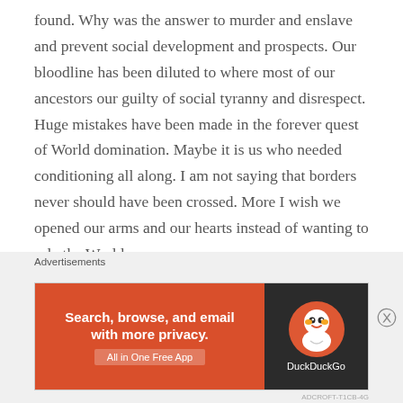found. Why was the answer to murder and enslave and prevent social development and prospects. Our bloodline has been diluted to where most of our ancestors our guilty of social tyranny and disrespect. Huge mistakes have been made in the forever quest of World domination. Maybe it is us who needed conditioning all along. I am not saying that borders never should have been crossed. More I wish we opened our arms and our hearts instead of wanting to rule the World.

Now here we are banished from each other like school kids who couldn't play nice. All there is now is
Advertisements
[Figure (other): DuckDuckGo advertisement banner: orange left panel with text 'Search, browse, and email with more privacy. All in One Free App' and dark right panel with DuckDuckGo duck logo and brand name.]